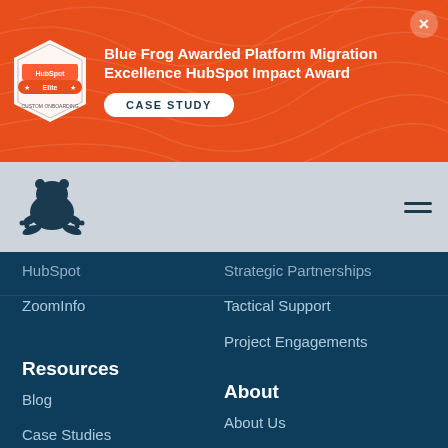[Figure (other): Orange banner with topographic line pattern, HubSpot Elite badge logo, award text, CASE STUDY button, and close X button]
Blue Frog Awarded Platform Migration Excellence HubSpot Impact Award
CASE STUDY
[Figure (logo): Blue Frog frog silhouette logo in dark navy blue]
HubSpot
Strategic Partnerships
ZoomInfo
Tactical Support
Project Engagements
Resources
About
Blog
About Us
Case Studies
Meet The Team
eBooks
Careers